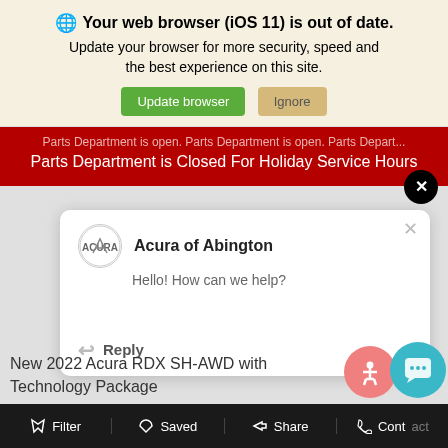Your web browser (iOS 11) is out of date. Update your browser for more security, speed and the best experience on this site.
Update browser | Ignore
Parts Department is Closed For Holiday Service Hours
[Figure (screenshot): Chat popup from Acura of Abington with Acura logo, text 'Hello! How can we help?' and a Reply button]
New 2022 Acura RDX SH-AWD with Technology Package
Filter  Saved  Share  Contact